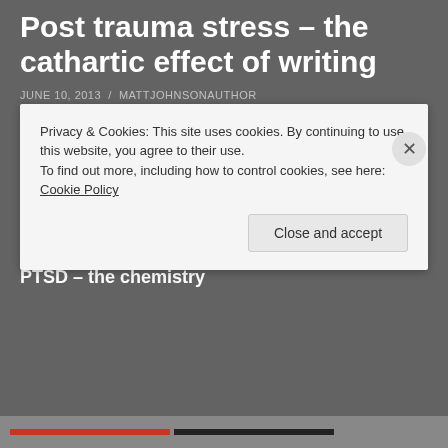Post trauma stress – the cathartic effect of writing
JUNE 10, 2013  /  MATTJOHNSONAUTHOR
It has quite surprised me how many people are now trying out writing as a contributory means to help treat PTSD, post traumatic stress disorder. Questions levelled at me, as to how writing helped me, have prompted me to put this post together.
PTSD – the chemistry
Privacy & Cookies: This site uses cookies. By continuing to use this website, you agree to their use.
To find out more, including how to control cookies, see here: Cookie Policy
Close and accept